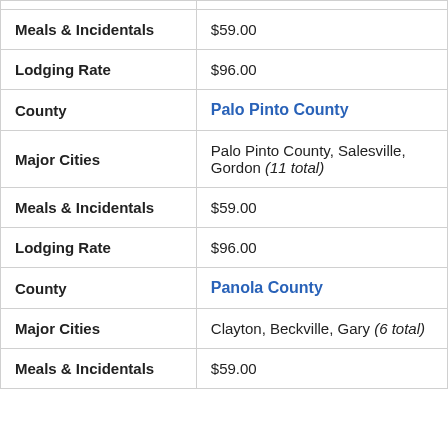| Field | Value |
| --- | --- |
| Meals & Incidentals | $59.00 |
| Lodging Rate | $96.00 |
| County | Palo Pinto County |
| Major Cities | Palo Pinto County, Salesville, Gordon (11 total) |
| Meals & Incidentals | $59.00 |
| Lodging Rate | $96.00 |
| County | Panola County |
| Major Cities | Clayton, Beckville, Gary (6 total) |
| Meals & Incidentals | $59.00 |